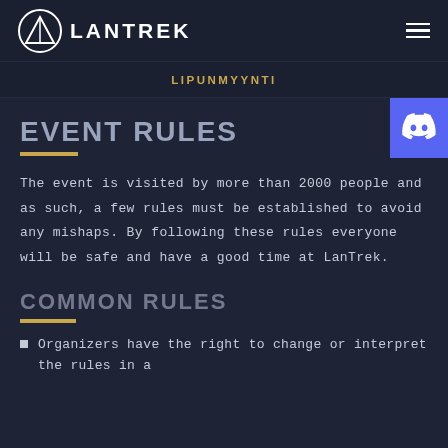LANTREK
LIPUNMYYNTI
EVENT RULES
The event is visited by more than 2000 people and as such, a few rules must be established to avoid any mishaps. By following these rules everyone will be safe and have a good time at LanTrek.
COMMON RULES
Organizers have the right to change or interpret the rules in a